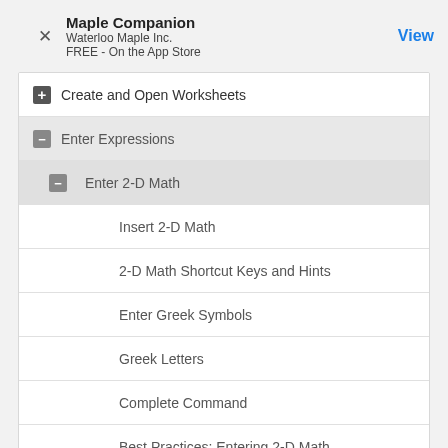Maple Companion
Waterloo Maple Inc.
FREE - On the App Store
+ Create and Open Worksheets
- Enter Expressions
- Enter 2-D Math
Insert 2-D Math
2-D Math Shortcut Keys and Hints
Enter Greek Symbols
Greek Letters
Complete Command
Best Practices: Entering 2-D Math